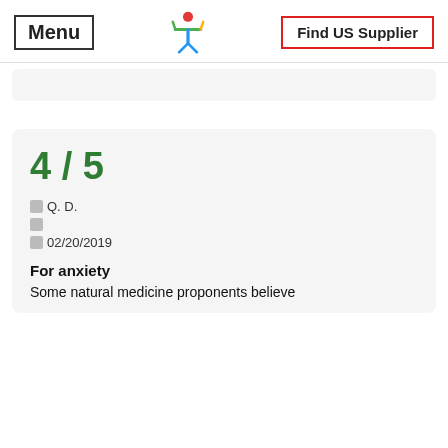Menu | [logo] | Find US Supplier
4 / 5
Q. D.
02/20/2019
For anxiety
Some natural medicine proponents believe